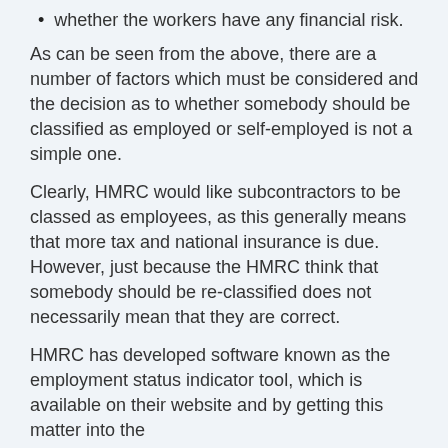whether the workers have any financial risk.
As can be seen from the above, there are a number of factors which must be considered and the decision as to whether somebody should be classified as employed or self-employed is not a simple one.
Clearly, HMRC would like subcontractors to be classed as employees, as this generally means that more tax and national insurance is due. However, just because the HMRC think that somebody should be re-classified does not necessarily mean that they are correct.
HMRC has developed software known as the employment status indicator tool, which is available on their website and by getting this matter into the